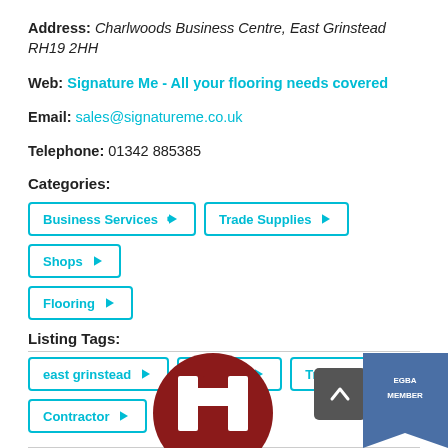Address: Charlwoods Business Centre, East Grinstead RH19 2HH
Web: Signature Me - All your flooring needs covered
Email: sales@signatureme.co.uk
Telephone: 01342 885385
Categories:
Business Services
Trade Supplies
Shops
Flooring
Listing Tags:
east grinstead
Flooring
Trade
Contractor
[Figure (logo): Circular dark red logo with white H shape in the center, partially visible at the bottom of the page]